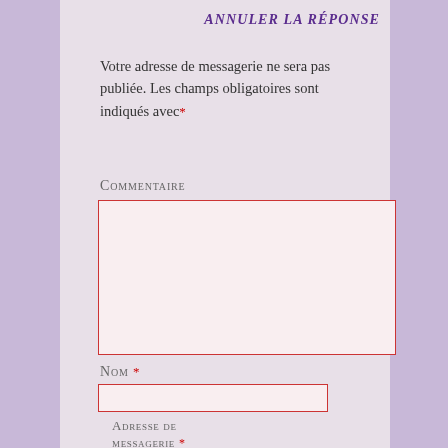ANNULER LA RÉPONSE
Votre adresse de messagerie ne sera pas publiée. Les champs obligatoires sont indiqués avec *
Commentaire
[Figure (other): Large text area input box with red border and pink background]
Nom *
[Figure (other): Single-line text input box with red border and pink background]
Adresse de messagerie *